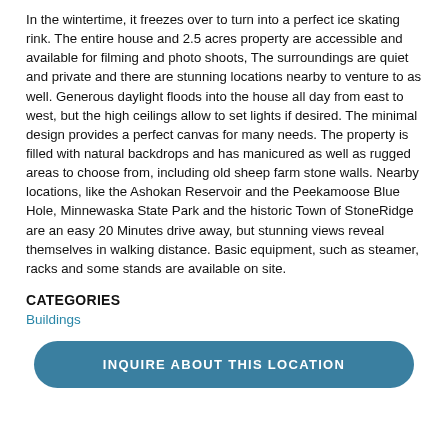In the wintertime, it freezes over to turn into a perfect ice skating rink. The entire house and 2.5 acres property are accessible and available for filming and photo shoots, The surroundings are quiet and private and there are stunning locations nearby to venture to as well. Generous daylight floods into the house all day from east to west, but the high ceilings allow to set lights if desired. The minimal design provides a perfect canvas for many needs. The property is filled with natural backdrops and has manicured as well as rugged areas to choose from, including old sheep farm stone walls. Nearby locations, like the Ashokan Reservoir and the Peekamoose Blue Hole, Minnewaska State Park and the historic Town of StoneRidge are an easy 20 Minutes drive away, but stunning views reveal themselves in walking distance. Basic equipment, such as steamer, racks and some stands are available on site.
CATEGORIES
Buildings
INQUIRE ABOUT THIS LOCATION